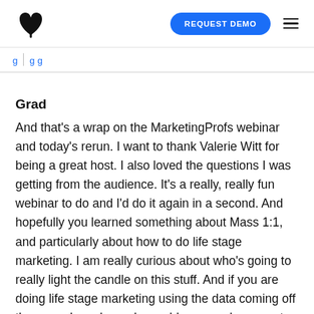REQUEST DEMO
Grad
And that's a wrap on the MarketingProfs webinar and today's rerun. I want to thank Valerie Witt for being a great host. I also loved the questions I was getting from the audience. It's a really, really fun webinar to do and I'd do it again in a second. And hopefully you learned something about Mass 1:1, and particularly about how to do life stage marketing. I am really curious about who's going to really light the candle on this stuff. And if you are doing life stage marketing using the data coming off these modern channels, could you send me a note, just DM me on Twitter and say, “Hey, Grad, I’m doing some